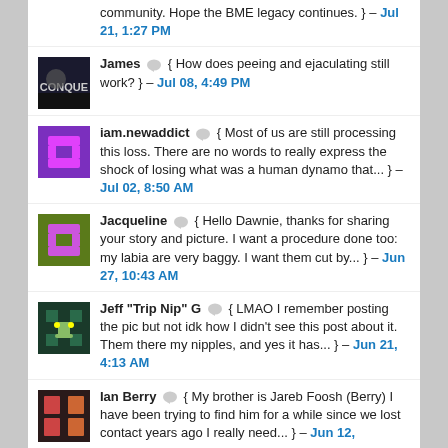community. Hope the BME legacy continues. } – Jul 21, 1:27 PM
James { How does peeing and ejaculating still work? } – Jul 08, 4:49 PM
iam.newaddict { Most of us are still processing this loss. There are no words to really express the shock of losing what was a human dynamo that... } – Jul 02, 8:50 AM
Jacqueline { Hello Dawnie, thanks for sharing your story and picture. I want a procedure done too: my labia are very baggy. I want them cut by... } – Jun 27, 10:43 AM
Jeff "Trip Nip" G { LMAO I remember posting the pic but not idk how I didn't see this post about it. Them there my nipples, and yes it has... } – Jun 21, 4:13 AM
Ian Berry { My brother is Jareb Foosh (Berry) I have been trying to find him for a while since we lost contact years ago I really need... } – Jun 12,